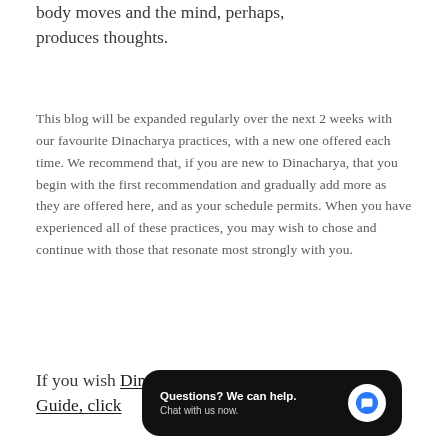body moves and the mind, perhaps, produces thoughts.
This blog will be expanded regularly over the next 2 weeks with our favourite Dinacharya practices, with a new one offered each time. We recommend that, if you are new to Dinacharya, that you begin with the first recommendation and gradually add more as they are offered here, and as your schedule permits. When you have experienced all of these practices, you may wish to chose and continue with those that resonate most strongly with you.
If you wish [to access our] Dinacharya Guide, click [here]
[Figure (other): Chat widget overlay: dark rounded rectangle with text 'Questions? We can help. Chat with us now.' and a blue circular chat icon on the right.]